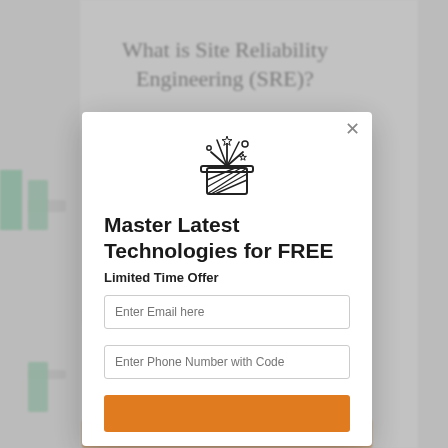[Figure (screenshot): Background webpage showing 'What is Site Reliability Engineering (SRE)?' article with blurred content and sidebar]
[Figure (illustration): Magic hat icon with stars and sparkles, outline style, used as modal header illustration]
Master Latest Technologies for FREE
Limited Time Offer
Enter Email here
Enter Phone Number with Code